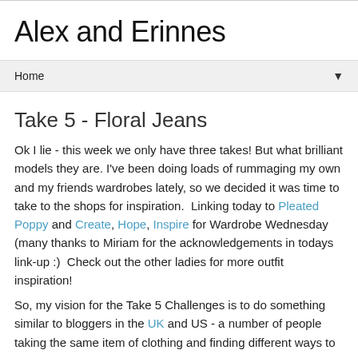Alex and Erinnes
Home
Take 5 - Floral Jeans
Ok I lie - this week we only have three takes! But what brilliant models they are. I've been doing loads of rummaging my own and my friends wardrobes lately, so we decided it was time to take to the shops for inspiration.  Linking today to Pleated Poppy and Create, Hope, Inspire for Wardrobe Wednesday (many thanks to Miriam for the acknowledgements in todays link-up :)  Check out the other ladies for more outfit inspiration!
So, my vision for the Take 5 Challenges is to do something similar to bloggers in the UK and US - a number of people taking the same item of clothing and finding different ways to